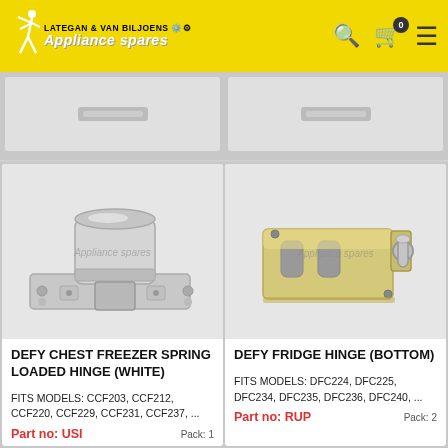Lategan & Van Biljoens Appliance Spares
[Figure (photo): Partially visible product images from the row above]
[Figure (photo): Defy Chest Freezer Spring Loaded Hinge (White) - metal hinge component, silver/grey color]
DEFY CHEST FREEZER SPRING LOADED HINGE (WHITE)
FITS MODELS: CCF203, CCF212, CCF220, CCF229, CCF231, CCF237, ...
Part no: USI
Pack: 1
[Figure (photo): Defy Fridge Hinge (Bottom) - flat metal bracket hinge with pin, silver/gold zinc color]
DEFY FRIDGE HINGE (BOTTOM)
FITS MODELS: DFC224, DFC225, DFC234, DFC235, DFC236, DFC240, ...
Part no: RUP
Pack: 2